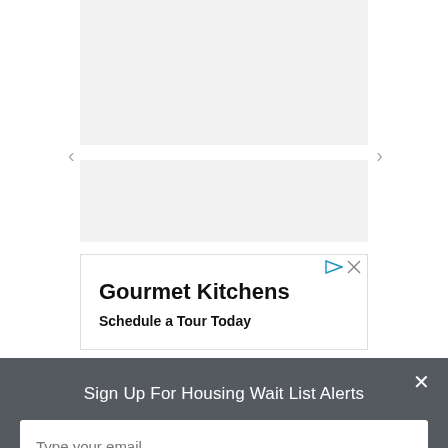[Figure (screenshot): Carousel image placeholder area with left and right navigation arrows and gray placeholder boxes]
[Figure (screenshot): Advertisement box with play and close icons showing 'Gourmet Kitchens' and 'Schedule a Tour Today']
Gourmet Kitchens
Schedule a Tour Today
Sign Up For Housing Wait List Alerts
Type your email
Sign Up